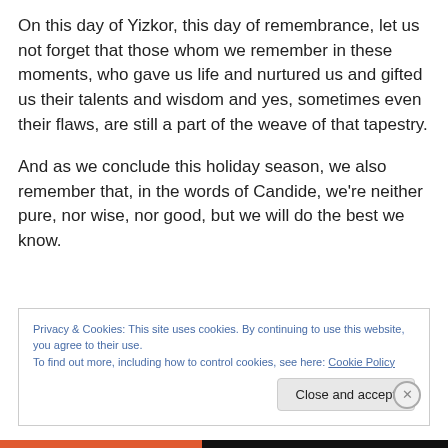On this day of Yizkor, this day of remembrance, let us not forget that those whom we remember in these moments, who gave us life and nurtured us and gifted us their talents and wisdom and yes, sometimes even their flaws, are still a part of the weave of that tapestry.

And as we conclude this holiday season, we also remember that, in the words of Candide, we're neither pure, nor wise, nor good, but we will do the best we know.
Privacy & Cookies: This site uses cookies. By continuing to use this website, you agree to their use.
To find out more, including how to control cookies, see here: Cookie Policy